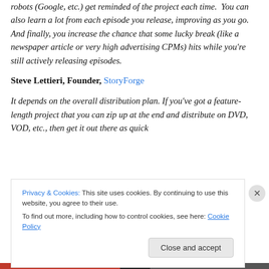robots (Google, etc.) get reminded of the project each time.  You can also learn a lot from each episode you release, improving as you go. And finally, you increase the chance that some lucky break (like a newspaper article or very high advertising CPMs) hits while you're still actively releasing episodes.
Steve Lettieri, Founder, StoryForge
It depends on the overall distribution plan. If you've got a feature-length project that you can zip up at the end and distribute on DVD, VOD, etc., then get it out there as quick
Privacy & Cookies: This site uses cookies. By continuing to use this website, you agree to their use.
To find out more, including how to control cookies, see here: Cookie Policy
Close and accept